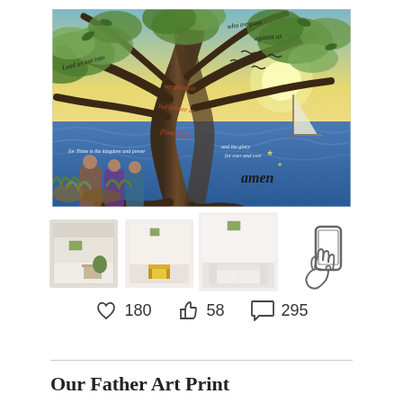[Figure (illustration): A large colorful painting of a tree with text from the Lord's Prayer woven through its branches and trunk. Text includes: 'Lead us not into temptation', 'who trespass against us', 'but deliver us from Evil', 'for Thine is the kingdom and the power', 'and the glory for ever and ever', 'amen'. The background shows a sky with birds, ocean waves, a sailboat, and a crowd of people at the base of the tree. Vibrant colors: yellow sky, blue water, green and brown tree.]
[Figure (photo): Thumbnail 1: Art print displayed in a room setting with a small table and plants]
[Figure (photo): Thumbnail 2: Art print displayed on a wall above a yellow chair in a minimalist room]
[Figure (photo): Thumbnail 3: Art print displayed on wall above a white sofa]
[Figure (other): Phone icon illustration - outline drawing of a hand holding a smartphone]
180
58
295
Our Father Art Print